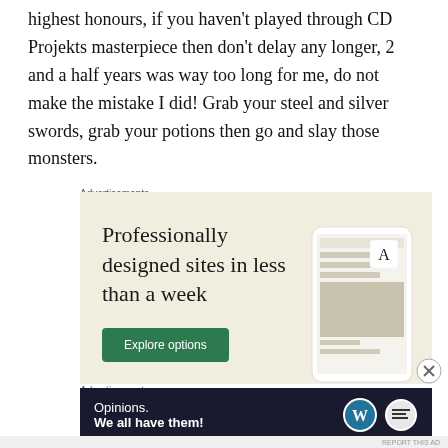highest honours, if you haven't played through CD Projekts masterpiece then don't delay any longer, 2 and a half years was way too long for me, do not make the mistake I did! Grab your steel and silver swords, grab your potions then go and slay those monsters.
Advertisements
[Figure (other): Advertisement banner with beige background. Large text reads 'Professionally designed sites in less than a week' with a green 'Explore options' button and a phone mockup on the right showing website screenshots.]
Advertisements
[Figure (other): Dark navy advertisement banner with white text reading 'Opinions. We all have them!' with WordPress logo and another circular logo on the right.]
REPORT THIS AD